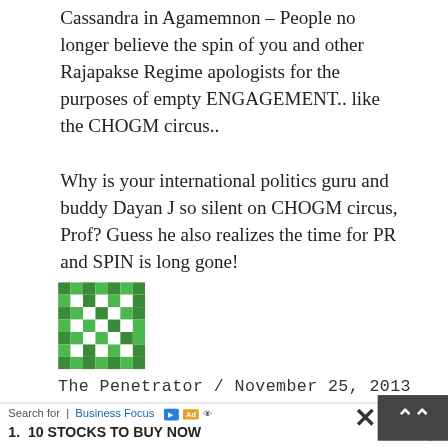Cassandra in Agamemnon – People no longer believe the spin of you and other Rajapakse Regime apologists for the purposes of empty ENGAGEMENT.. like the CHOGM circus.. Why is your international politics guru and buddy Dayan J so silent on CHOGM circus, Prof? Guess he also realizes the time for PR and SPIN is long gone!
[Figure (illustration): Green pixelated/mosaic avatar icon, square shape with abstract geometric pattern in green and white]
The Penetrator / November 25, 2013
[Figure (infographic): Advertisement bar: Search for | Business Focus with ad icons, followed by '1. 10 STOCKS TO BUY NOW' with arrow, and a dark close button with double-up arrow]